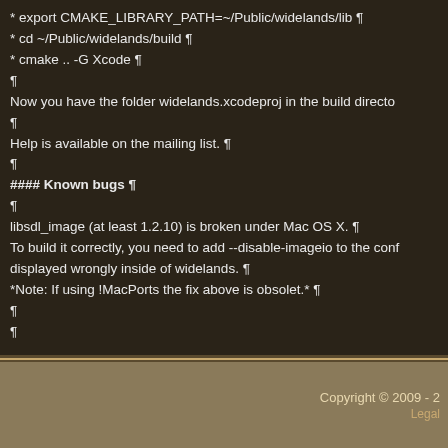* export CMAKE_LIBRARY_PATH=~/Public/widelands/lib ¶
* cd ~/Public/widelands/build ¶
* cmake .. -G Xcode ¶
¶
Now you have the folder widelands.xcodeproj in the build directo...
¶
Help is available on the mailing list. ¶
¶
#### Known bugs ¶
¶
libsdl_image (at least 1.2.10) is broken under Mac OS X. ¶
To build it correctly, you need to add --disable-imageio to the conf...
displayed wrongly inside of widelands. ¶
*Note: If using !MacPorts the fix above is obsolet.* ¶
¶
¶
Copyright © 2009 - 2
Legal